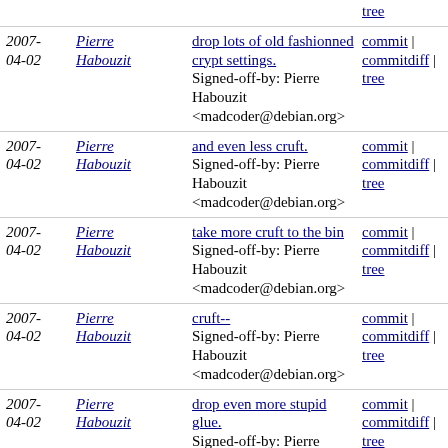| Date | Author | Commit message | Links |
| --- | --- | --- | --- |
| 2007-04-02 | Pierre Habouzit | drop lots of old fashionned crypt settings.
Signed-off-by: Pierre Habouzit <madcoder@debian.org> | commit | commitdiff | tree |
| 2007-04-02 | Pierre Habouzit | and even less cruft.
Signed-off-by: Pierre Habouzit <madcoder@debian.org> | commit | commitdiff | tree |
| 2007-04-02 | Pierre Habouzit | take more cruft to the bin
Signed-off-by: Pierre Habouzit <madcoder@debian.org> | commit | commitdiff | tree |
| 2007-04-02 | Pierre Habouzit | cruft--
Signed-off-by: Pierre Habouzit <madcoder@debian.org> | commit | commitdiff | tree |
| 2007-04-02 | Pierre Habouzit | drop even more stupid glue.
Signed-off-by: Pierre Habouzit <madcoder@debian.org> | commit | commitdiff | tree |
| 2007-04-02 | Pierre Habouzit | drop even more glue.
Signed-off-by: Pierre Habouzit <madcoder@debian.org> | commit | commitdiff | tree |
| 2007-04-02 | Pierre Habouzit | Even remove more code.
Signed-off-by: Pierre Habouzit <madcoder@debian.org> | commit | commitdiff | tree |